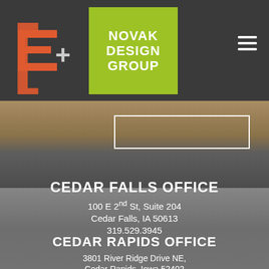[Figure (logo): E+ Novak Design Group logo on dark navbar background. Orange/red E bracket logo on left, green square with NOVAK DESIGN GROUP text in center, hamburger menu icon on right.]
[Figure (photo): Exterior photo of modern building with concrete and glass facade, blurred background with steps/sidewalk in foreground.]
CEDAR FALLS OFFICE
100 E 2nd St, Suite 204
Cedar Falls, IA 50613
319.529.3945
CEDAR RAPIDS OFFICE
3801 River Ridge Drive NE,
Cedar Rapids, Iowa 52402
319.393.9334